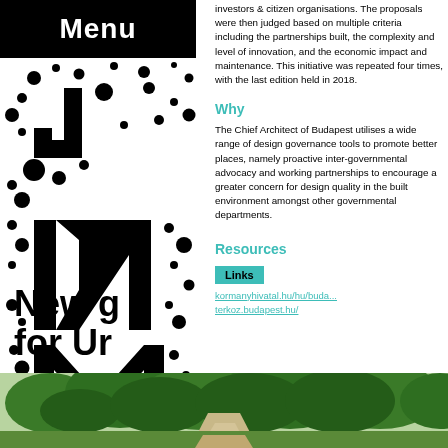Menu
[Figure (logo): Abstract dot-and-letter logo with black circles and letters on white background forming a decorative pattern]
investors & citizen organisations. The proposals were then judged based on multiple criteria including the partnerships built, the complexity and level of innovation, and the economic impact and maintenance. This initiative was repeated four times, with the last edition held in 2018.
Why
The Chief Architect of Budapest utilises a wide range of design governance tools to promote better places, namely proactive inter-governmental advocacy and working partnerships to encourage a greater concern for design quality in the built environment amongst other governmental departments.
Resources
Links
kormanyhivatal.hu/hu/buda...
terkoz.budapest.hu/
New g
for Ur
[Figure (photo): Green landscape with trees and a path, natural outdoor scene]